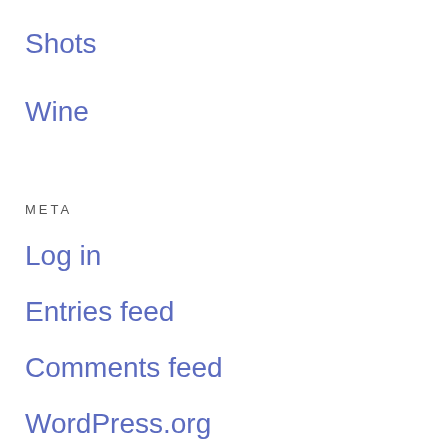Shots
Wine
META
Log in
Entries feed
Comments feed
WordPress.org